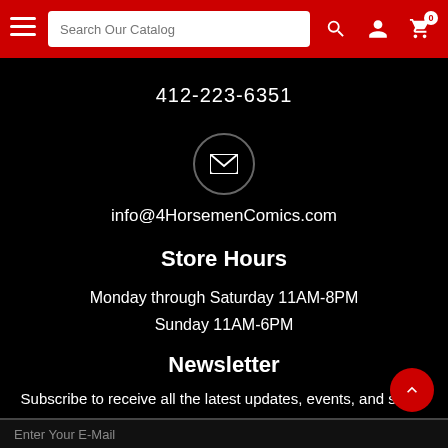Search Our Catalog
412-223-6351
[Figure (illustration): Envelope icon inside a circular border]
info@4HorsemenComics.com
Store Hours
Monday through Saturday 11AM-8PM
Sunday 11AM-6PM
Newsletter
Subscribe to receive all the latest updates, events, and sales!
Enter Your E-Mail